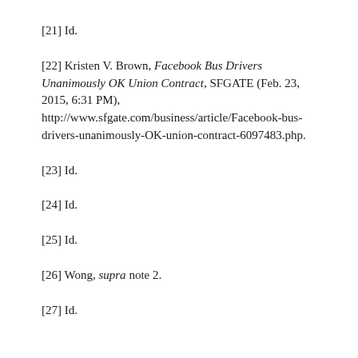[21] Id.
[22] Kristen V. Brown, Facebook Bus Drivers Unanimously OK Union Contract, SFGATE (Feb. 23, 2015, 6:31 PM), http://www.sfgate.com/business/article/Facebook-bus-drivers-unanimously-OK-union-contract-6097483.php.
[23] Id.
[24] Id.
[25] Id.
[26] Wong, supra note 2.
[27] Id.